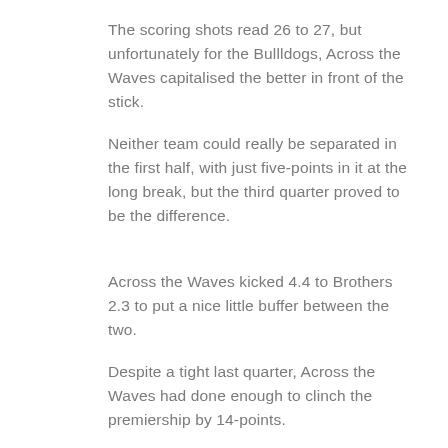The scoring shots read 26 to 27, but unfortunately for the Bullldogs, Across the Waves capitalised the better in front of the stick.
Neither team could really be separated in the first half, with just five-points in it at the long break, but the third quarter proved to be the difference.
Across the Waves kicked 4.4 to Brothers 2.3 to put a nice little buffer between the two.
Despite a tight last quarter, Across the Waves had done enough to clinch the premiership by 14-points.